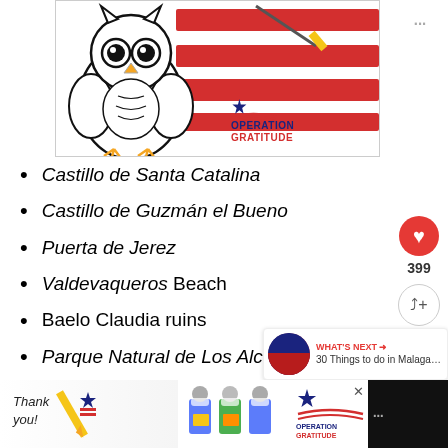[Figure (illustration): An Operation Gratitude coloring page showing a cartoon owl holding a pencil, positioned in front of red and white stripes (American flag style). The Operation Gratitude logo appears in the lower right of the image.]
Castillo de Santa Catalina
Castillo de Guzmán el Bueno
Puerta de Jerez
Valdevaqueros Beach
Baelo Claudia ruins
Parque Natural de Los Alcornocales
[Figure (photo): Advertisement banner: Operation Gratitude ad showing 'Thank you!' text with patriotic pencil illustration on the left, healthcare workers holding care packages in the center, and the Operation Gratitude logo on the right.]